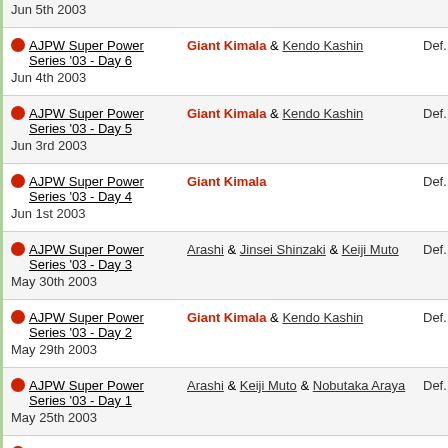| Event | Opponent | Result |
| --- | --- | --- |
| Jun 5th 2003 (partial) |  |  |
| 🟥 AJPW Super Power Series '03 - Day 6
Jun 4th 2003 | Giant Kimala & Kendo Kashin | Def. (Pin) |
| 🟥 AJPW Super Power Series '03 - Day 5
Jun 3rd 2003 | Giant Kimala & Kendo Kashin | Def. (Pin) |
| 🟥 AJPW Super Power Series '03 - Day 4
Jun 1st 2003 | Giant Kimala | Def. (Pin) |
| 🟥 AJPW Super Power Series '03 - Day 3
May 30th 2003 | Arashi & Jinsei Shinzaki & Keiji Muto | Def. (Pin) |
| 🟥 AJPW Super Power Series '03 - Day 2
May 29th 2003 | Giant Kimala & Kendo Kashin | Def. (Pin) |
| 🟥 AJPW Super Power Series '03 - Day 1
May 25th 2003 | Arashi & Keiji Muto & Nobutaka Araya | Def. (Pin) |
| 🟥 AJPW October Giant Series '01 - Day 13
Oct 27th 2001 | Giant Kimala | Def. (Pin) |